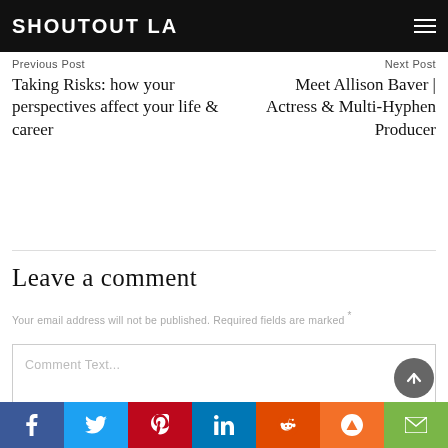SHOUTOUT LA
Previous Post
Next Post
Taking Risks: how your perspectives affect your life & career
Meet Allison Baver | Actress & Multi-Hyphen Producer
Leave a comment
Your email address will not be published. Required fields are marked *
Comment Text...